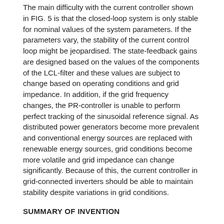The main difficulty with the current controller shown in FIG. 5 is that the closed-loop system is only stable for nominal values of the system parameters. If the parameters vary, the stability of the current control loop might be jeopardised. The state-feedback gains are designed based on the values of the components of the LCL-filter and these values are subject to change based on operating conditions and grid impedance. In addition, if the grid frequency changes, the PR-controller is unable to perform perfect tracking of the sinusoidal reference signal. As distributed power generators become more prevalent and conventional energy sources are replaced with renewable energy sources, grid conditions become more volatile and grid impedance can change significantly. Because of this, the current controller in grid-connected inverters should be able to maintain stability despite variations in grid conditions.
SUMMARY OF INVENTION
The present invention provides systems, methods, and devices relating to control systems for grid-connected inverters. Because grid conditions may vary and because control system stability is dependent on the parameters of